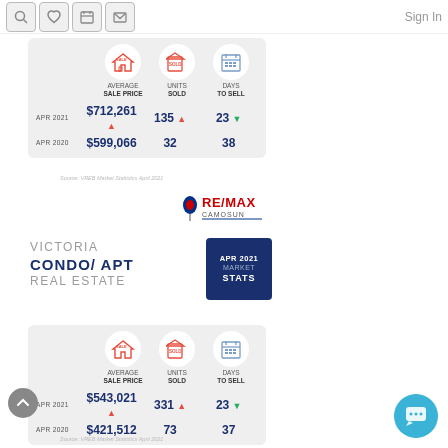Sign In
[Figure (infographic): Apr 2021 vs Apr 2020 real estate stats card 1: Average Sale Price $712,261 (up) vs $599,066; Units Sold 135 (up) vs 32; Days to Sell 23 (down) vs 38]
Source: VREB Market Statistics April 2021
[Figure (logo): RE/MAX Camosun logo]
VICTORIA CONDO/ APT REAL ESTATE
[Figure (infographic): APR 2021 MARKET STATS badge]
[Figure (infographic): Apr 2021 vs Apr 2020 Condo/Apt stats: Average Sale Price $543,021 (up) vs $421,512; Units Sold 331 (up) vs 73; Days to Sell 23 (down) vs 37]
Source: VREB Market Statistics April 2021